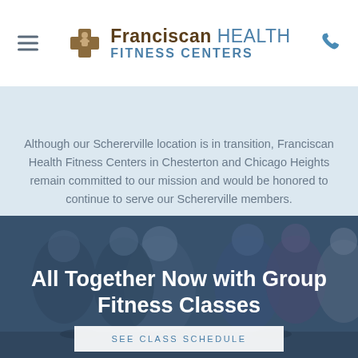[Figure (logo): Franciscan Health Fitness Centers logo with cross icon, hamburger menu on left, phone icon on right]
Although our Schererville location is in transition, Franciscan Health Fitness Centers in Chesterton and Chicago Heights remain committed to our mission and would be honored to continue to serve our Schererville members.
LEARN MORE
[Figure (photo): Group fitness class photo showing multiple people cycling on stationary bikes in a gym setting, with blue tint overlay]
All Together Now with Group Fitness Classes
SEE CLASS SCHEDULE